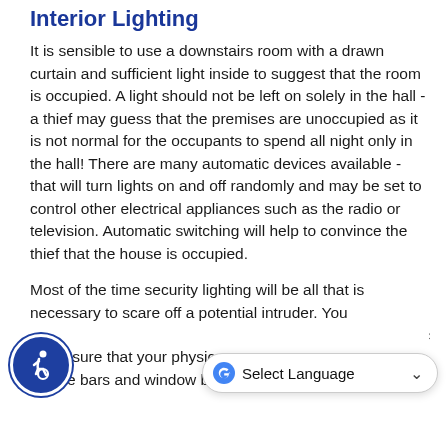Interior Lighting
It is sensible to use a downstairs room with a drawn curtain and sufficient light inside to suggest that the room is occupied. A light should not be left on solely in the hall - a thief may guess that the premises are unoccupied as it is not normal for the occupants to spend all night only in the hall! There are many automatic devices available - that will turn lights on and off randomly and may be set to control other electrical appliances such as the radio or television. Automatic switching will help to convince the thief that the house is occupied.
Most of the time security lighting will be all that is necessary to scare off a potential intruder. You must make sure that your physical locks, the bars and window bolts - will resist